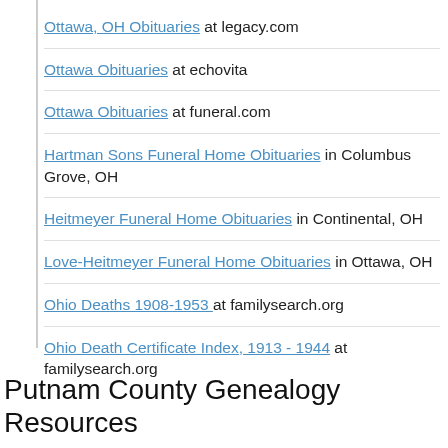Ottawa, OH Obituaries at legacy.com
Ottawa Obituaries at echovita
Ottawa Obituaries at funeral.com
Hartman Sons Funeral Home Obituaries in Columbus Grove, OH
Heitmeyer Funeral Home Obituaries in Continental, OH
Love-Heitmeyer Funeral Home Obituaries in Ottawa, OH
Ohio Deaths 1908-1953 at familysearch.org
Ohio Death Certificate Index, 1913 - 1944 at familysearch.org
Putnam County Genealogy Resources